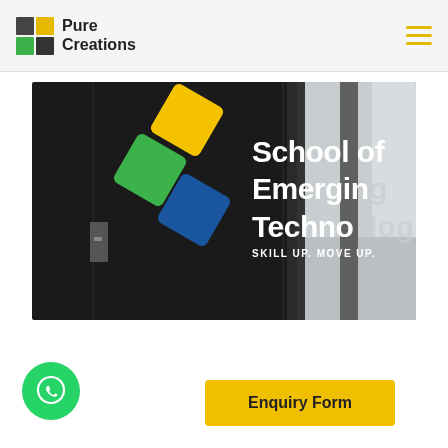Pure Creations
[Figure (photo): Entrance or lobby of School of Emerging Technologies with logo showing yellow, green, and blue diamond shapes on a dark background, with text 'School of Emerging Technologies – SKILL UP. MOVE UP.' and a glass-walled corridor visible on the right.]
[Figure (logo): Green circle WhatsApp button with speech bubble and phone icon]
Enquiry Form